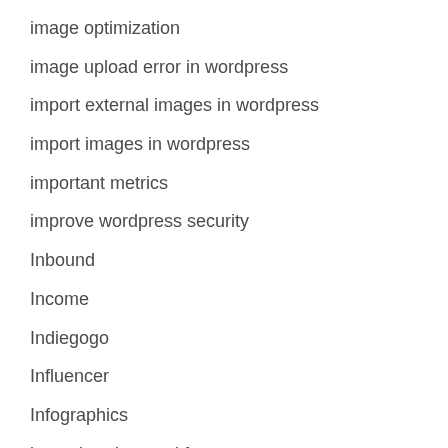image optimization
image upload error in wordpress
import external images in wordpress
import images in wordpress
important metrics
improve wordpress security
Inbound
Income
Indiegogo
Influencer
Infographics
insert headers and footers